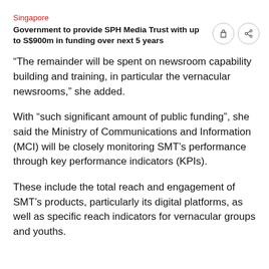Singapore
Government to provide SPH Media Trust with up to S$900m in funding over next 5 years
“The remainder will be spent on newsroom capability building and training, in particular the vernacular newsrooms,” she added.
With “such significant amount of public funding”, she said the Ministry of Communications and Information (MCI) will be closely monitoring SMT’s performance through key performance indicators (KPIs).
These include the total reach and engagement of SMT’s products, particularly its digital platforms, as well as specific reach indicators for vernacular groups and youths.